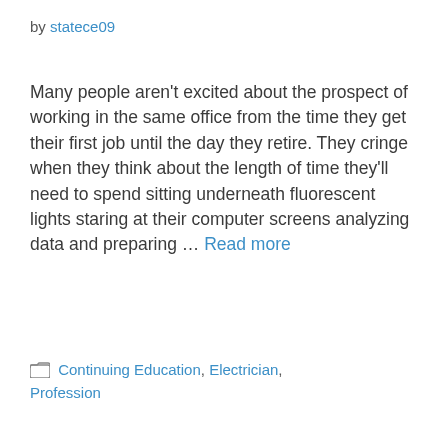by statece09
Many people aren't excited about the prospect of working in the same office from the time they get their first job until the day they retire. They cringe when they think about the length of time they'll need to spend sitting underneath fluorescent lights staring at their computer screens analyzing data and preparing … Read more
Continuing Education, Electrician, Profession